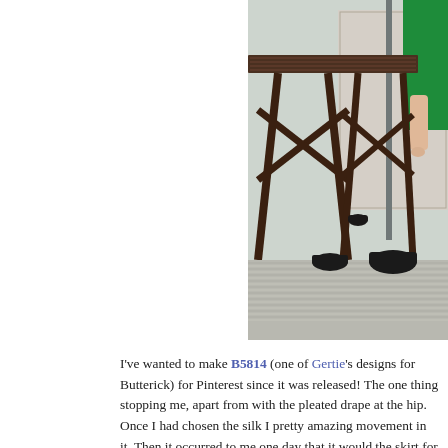[Figure (photo): Photo of a wooden folding table/easel with dark wood cross-braced legs, set on a striped floor. A person in a green dress is visible at the upper right edge, with their arm hanging down. Black bowls/containers are on the floor near the table base. A framed picture or window is visible on the wall in the background.]
I've wanted to make B5814 (one of Gertie's designs for Butterick) fo... Pinterest since it was released! The one thing stopping me, apart fro... with the pleated drape at the hip. Once I had chosen the silk I pretty amazing movement in it. Then it occurred to me one day that it woul... the skirt for a simple flippy half circle.